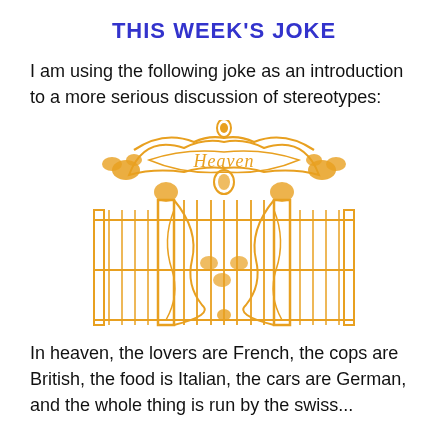THIS WEEK'S JOKE
I am using the following joke as an introduction to a more serious discussion of stereotypes:
[Figure (illustration): Decorative golden ornate heaven gates with scrollwork, the word 'Heaven' in script at the top, vertical bars below and floral/leaf ornaments on the sides.]
In heaven, the lovers are French, the cops are British, the food is Italian, the cars are German, and the whole thing is run by the swiss...